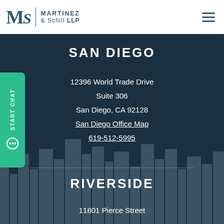[Figure (logo): Martinez & Schill LLP law firm logo with stylized MS monogram]
SAN DIEGO
12396 World Trade Drive
Suite 306
San Diego, CA 92128
San Diego Office Map
619-512-5995
RIVERSIDE
11801 Pierce Street